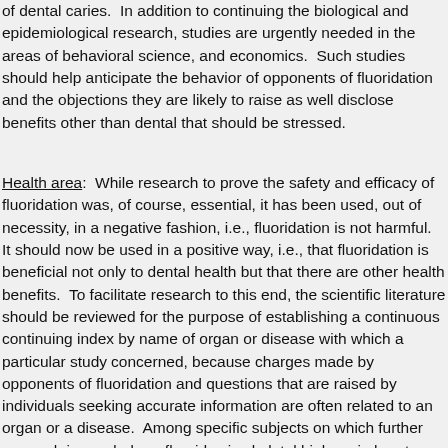of dental caries.  In addition to continuing the biological and epidemiological research, studies are urgently needed in the areas of behavioral science, and economics.  Such studies should help anticipate the behavior of opponents of fluoridation and the objections they are likely to raise as well as disclose benefits other than dental that should be stressed.
Health area:  While research to prove the safety and efficacy of fluoridation was, of course, essential, it has been used, out of necessity, in a negative fashion, i.e., fluoridation is not harmful.  It should now be used in a positive way, i.e., that fluoridation is beneficial not only to dental health but that there are other health benefits.  To facilitate research to this end, the scientific literature should be reviewed for the purpose of establishing a continuous continuing index by name of organ or disease with which a particular study is concerned, because charges made by opponents of fluoridation and questions that are raised by individuals seeking accurate information are often related to an organ or a disease.  Among specific subjects on which further research is needed are fluorides in skeletal biology, in heart disease, utilization of minimal iron, the combined effects of two or more additives to drinking water supply; and the long-term effects of multiple sources of